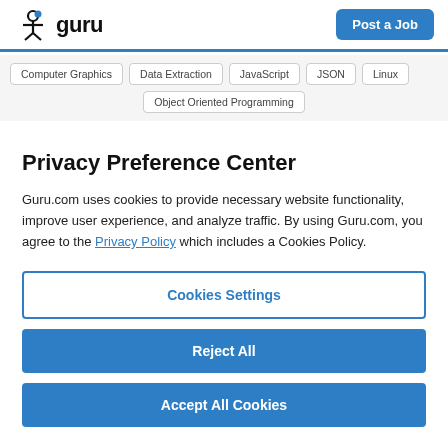guru | Post a Job
Computer Graphics
Data Extraction
JavaScript
JSON
Linux
Object Oriented Programming
Privacy Preference Center
Guru.com uses cookies to provide necessary website functionality, improve user experience, and analyze traffic. By using Guru.com, you agree to the Privacy Policy which includes a Cookies Policy.
Cookies Settings
Reject All
Accept All Cookies